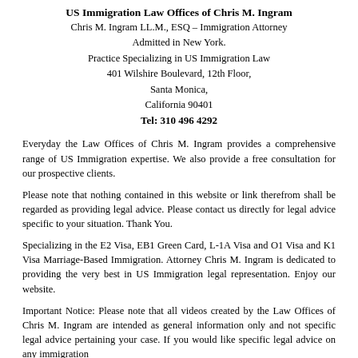US Immigration Law Offices of Chris M. Ingram
Chris M. Ingram LL.M., ESQ – Immigration Attorney
Admitted in New York.
Practice Specializing in US Immigration Law
401 Wilshire Boulevard, 12th Floor,
Santa Monica,
California 90401
Tel: 310 496 4292
Everyday the Law Offices of Chris M. Ingram provides a comprehensive range of US Immigration expertise. We also provide a free consultation for our prospective clients.
Please note that nothing contained in this website or link therefrom shall be regarded as providing legal advice. Please contact us directly for legal advice specific to your situation. Thank You.
Specializing in the E2 Visa, EB1 Green Card, L-1A Visa and O1 Visa and K1 Visa Marriage-Based Immigration. Attorney Chris M. Ingram is dedicated to providing the very best in US Immigration legal representation. Enjoy our website.
Important Notice: Please note that all videos created by the Law Offices of Chris M. Ingram are intended as general information only and not specific legal advice pertaining your case. If you would like specific legal advice on any immigration